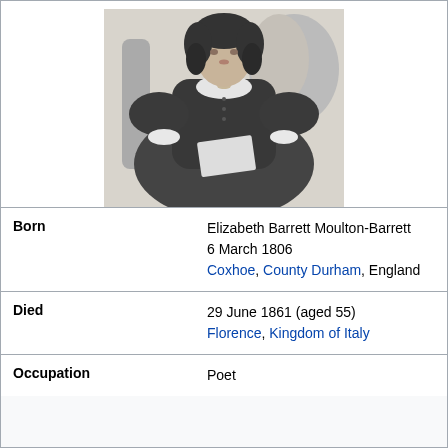[Figure (illustration): Black and white engraved portrait of a seated woman in Victorian dress, holding papers, with curly dark hair and a white lace collar.]
| Born | Elizabeth Barrett Moulton-Barrett
6 March 1806
Coxhoe, County Durham, England |
| Died | 29 June 1861 (aged 55)
Florence, Kingdom of Italy |
| Occupation | Poet |